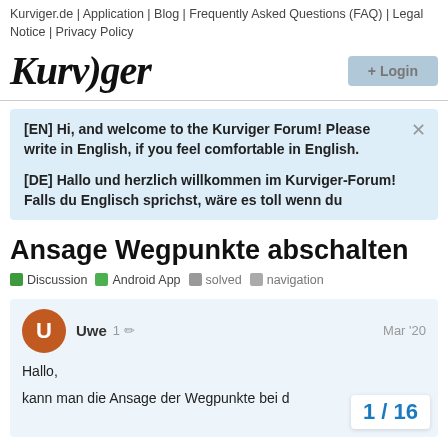Kurviger.de | Application | Blog | Frequently Asked Questions (FAQ) | Legal Notice | Privacy Policy
[Figure (logo): Kurviger logo in italic bold serif font, with a Login button on the right]
[EN] Hi, and welcome to the Kurviger Forum! Please write in English, if you feel comfortable in English.
[DE] Hallo und herzlich willkommen im Kurviger-Forum! Falls du Englisch sprichst, wäre es toll wenn du
Ansage Wegpunkte abschalten
Discussion  Android App  solved  navigation
Uwe  1  Mar '20
Hallo,

kann man die Ansage der Wegpunkte bei d